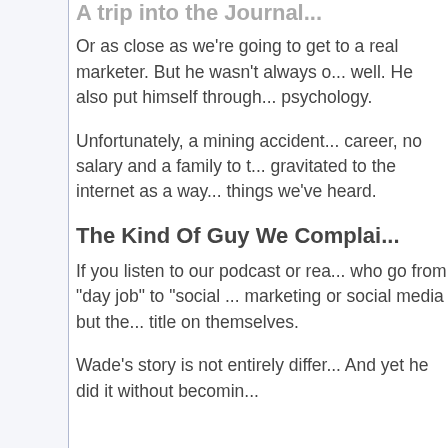A trip into the Journal...
Or as close as we're going to get to a real marketer. But he wasn't always one, as you'll see well. He also put himself through school to study psychology.
Unfortunately, a mining accident ended that career, no salary and a family to take care of, he gravitated to the internet as a way — or so goes things we've heard.
The Kind Of Guy We Complain About
If you listen to our podcast or read our blog, who go from "day job" to "social media" aren't marketing or social media but they slap that trendy title on themselves.
Wade's story is not entirely different from that. And yet he did it without becoming...